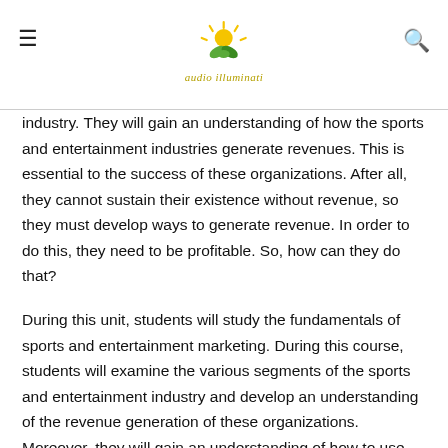audio illuminati
industry. They will gain an understanding of how the sports and entertainment industries generate revenues. This is essential to the success of these organizations. After all, they cannot sustain their existence without revenue, so they must develop ways to generate revenue. In order to do this, they need to be profitable. So, how can they do that?
During this unit, students will study the fundamentals of sports and entertainment marketing. During this course, students will examine the various segments of the sports and entertainment industry and develop an understanding of the revenue generation of these organizations. Moreover, they will gain an understanding of how to use various sports and entertainment methods to maximize their revenue potential. Throughout this unit, students will develop their own strategies to promote and market their sports and their ancillary products.